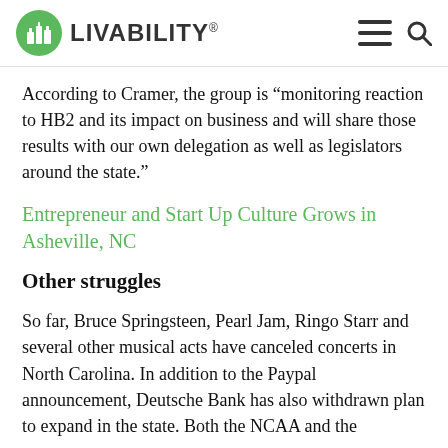LIVABILITY
According to Cramer, the group is “monitoring reaction to HB2 and its impact on business and will share those results with our own delegation as well as legislators around the state.”
Entrepreneur and Start Up Culture Grows in Asheville, NC
Other struggles
So far, Bruce Springsteen, Pearl Jam, Ringo Starr and several other musical acts have canceled concerts in North Carolina. In addition to the Paypal announcement, Deutsche Bank has also withdrawn plan to expand in the state. Both the NCAA and the